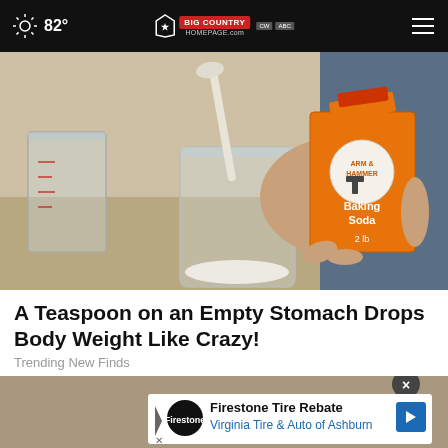82° Big Country Homepage
[Figure (photo): Person's hands holding an orange Arm & Hammer Baking Soda box and stirring white powder into a glass jar with a spoon]
A Teaspoon on an Empty Stomach Drops Body Weight Like Crazy!
Trending New Finds
[Figure (photo): Partial second article image with ad overlay showing Firestone Tire Rebate - Virginia Tire & Auto of Ashburn advertisement]